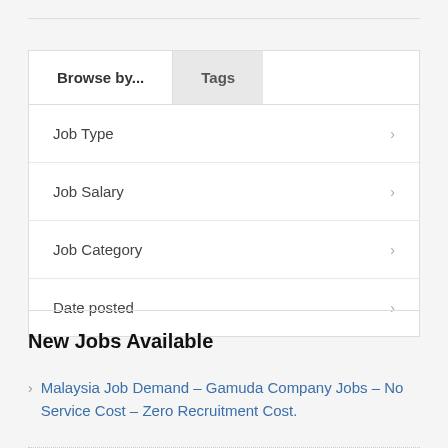| Browse by... | Tags |
| --- | --- |
| Job Type | › |
| Job Salary | › |
| Job Category | › |
| Date posted | › |
New Jobs Available
Malaysia Job Demand – Gamuda Company Jobs – No Service Cost – Zero Recruitment Cost.